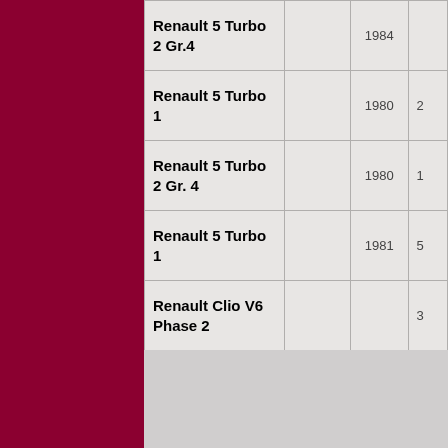| Car Name | ID | Year | ... |
| --- | --- | --- | --- |
| Renault 5 Turbo 2 Gr.4 |  | 1984 |  |
| Renault 5 Turbo 1 |  | 1980 | 24... |
| Renault 5 Turbo 2 Gr. 4 |  | 1980 | 1... |
| Renault 5 Turbo 1 |  | 1981 | 55... |
| Renault Clio V6 Phase 2 |  |  | 3... |
| Renault Clio Williams Phase 1 | 973260 | 1993 | 10... |